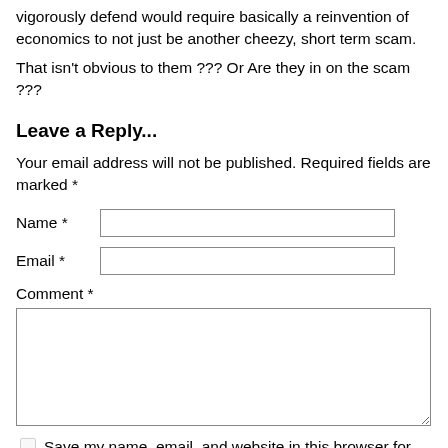vigorously defend would require basically a reinvention of economics to not just be another cheezy, short term scam.
That isn't obvious to them ??? Or Are they in on the scam ???
Leave a Reply...
Your email address will not be published. Required fields are marked *
Name *
Email *
Comment *
Save my name, email, and website in this browser for